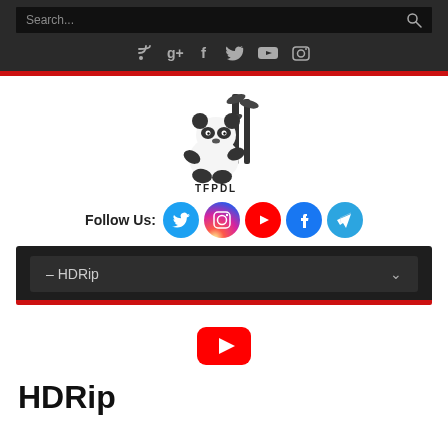Search... [search icon] [social icons: RSS, G+, Facebook, Twitter, YouTube, Instagram]
[Figure (logo): TFPDL panda logo with bamboo, text TFPDL below]
Follow Us: [Twitter] [Instagram] [YouTube] [Facebook] [Telegram]
[Figure (screenshot): Dark dropdown menu showing — HDRip with chevron arrow, red bar below]
[Figure (logo): YouTube red play button icon]
HDRip